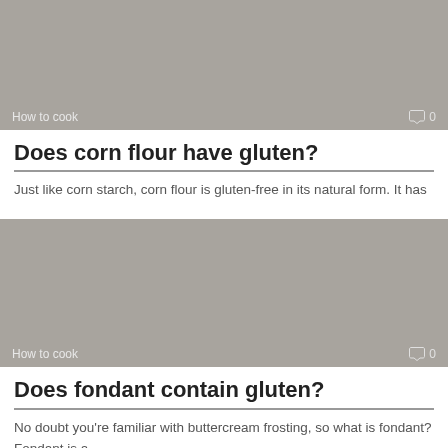[Figure (photo): Gray placeholder image for 'Does corn flour have gluten?' article with 'How to cook' label and comment count 0 at bottom]
Does corn flour have gluten?
Just like corn starch, corn flour is gluten-free in its natural form. It has
[Figure (photo): Gray placeholder image for 'Does fondant contain gluten?' article with 'How to cook' label and comment count 0 at bottom]
Does fondant contain gluten?
No doubt you're familiar with buttercream frosting, so what is fondant? Fondant is a